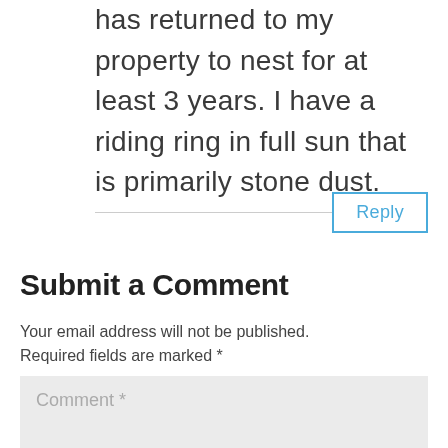has returned to my property to nest for at least 3 years. I have a riding ring in full sun that is primarily stone dust.
Reply
Submit a Comment
Your email address will not be published. Required fields are marked *
Comment *